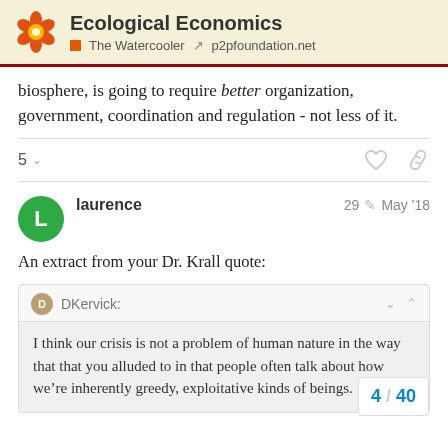Ecological Economics — The Watercooler | p2pfoundation.net
biosphere, is going to require better organization, government, coordination and regulation - not less of it.
5
laurence   29   May '18
An extract from your Dr. Krall quote:
DKervick:
I think our crisis is not a problem of human nature in the way that that you alluded to in that people often talk about how we're inherently greedy, exploitative kinds of beings.
4 / 40